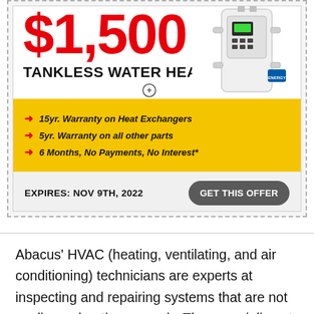[Figure (infographic): Coupon advertisement for $1,500 off a new tankless water heater, with warranty details, expiry date NOV 9TH 2022, and GET THIS OFFER button. Shows image of tankless water heater unit.]
Abacus' HVAC (heating, ventilating, and air conditioning) technicians are experts at inspecting and repairing systems that are not cooling or heating properly. They specialize at everything from condensers, coils, air ducts, air filtration to complete AC installations and AC replacements with the best warranties in Houston. Need